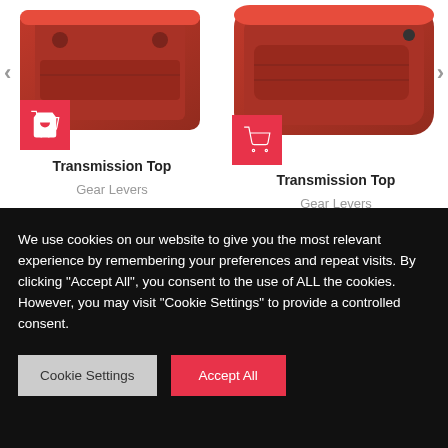[Figure (photo): Red transmission top part for tractor, left product]
Transmission Top
Gear Levers
[Figure (photo): Red transmission top part for tractor, right product]
Transmission Top
Gear Levers
[Figure (logo): AGROgle logo in white on dark background]
We use cookies on our website to give you the most relevant experience by remembering your preferences and repeat visits. By clicking "Accept All", you consent to the use of ALL the cookies. However, you may visit "Cookie Settings" to provide a controlled consent.
Cookie Settings
Accept All